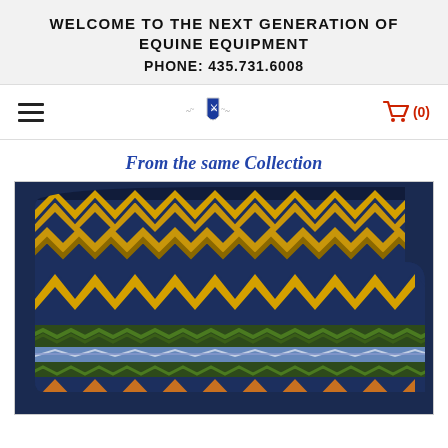WELCOME TO THE NEXT GENERATION OF EQUINE EQUIPMENT
PHONE: 435.731.6008
[Figure (other): Navigation bar with hamburger menu icon on left, shield logo in center, and red shopping cart icon with (0) on right]
From the same Collection
[Figure (photo): Photo of a decorative horse saddle pad with Aztec/Navajo-style zigzag chevron pattern in navy blue, gold/yellow, green, and brown colors with a tan leather trim at the bottom]